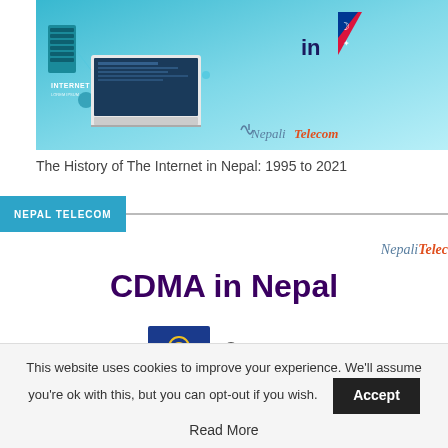[Figure (illustration): Hero banner showing laptop and computer devices on teal/cyan gradient background with Nepal flag and NepaliTelecom logo, partial text 'History of Internet in' visible]
The History of The Internet in Nepal: 1995 to 2021
NEPAL TELECOM
[Figure (logo): NepaliTelecom partial logo text cut off at right edge]
CDMA in Nepal
[Figure (logo): Nepal Telecom blue logo box and UTL Nepal logo side by side]
This website uses cookies to improve your experience. We'll assume you're ok with this, but you can opt-out if you wish.
Accept
Read More